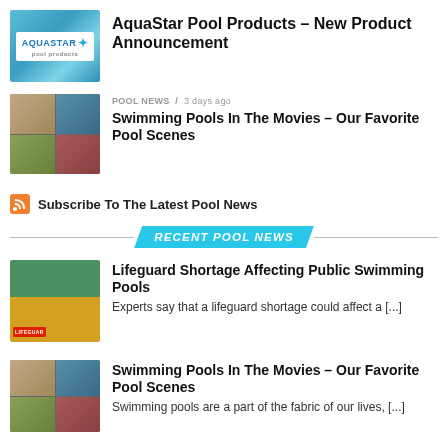[Figure (logo): AquaStar Pool Products logo on pool water background]
AquaStar Pool Products – New Product Announcement
[Figure (photo): Movie scenes collage with pool scenes]
POOL NEWS / 3 days ago
Swimming Pools In The Movies – Our Favorite Pool Scenes
Subscribe To The Latest Pool News
RECENT POOL NEWS
[Figure (photo): Lifeguard in red and yellow uniform]
Lifeguard Shortage Affecting Public Swimming Pools
Experts say that a lifeguard shortage could affect a [...]
[Figure (photo): Movie scenes collage with pool scenes]
Swimming Pools In The Movies – Our Favorite Pool Scenes
Swimming pools are a part of the fabric of our lives, [...]